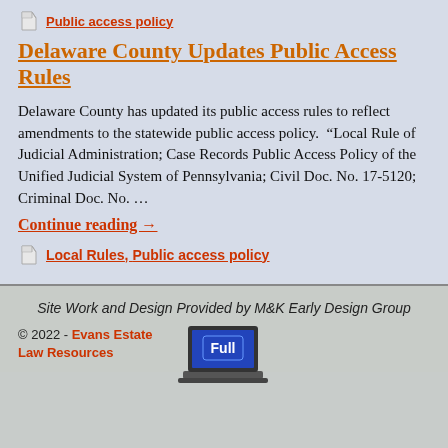Public access policy
Delaware County Updates Public Access Rules
Delaware County has updated its public access rules to reflect amendments to the statewide public access policy. “Local Rule of Judicial Administration; Case Records Public Access Policy of the Unified Judicial System of Pennsylvania; Civil Doc. No. 17-5120; Criminal Doc. No. …
Continue reading →
Local Rules, Public access policy
Site Work and Design Provided by M&K Early Design Group
© 2022 - Evans Estate Law Resources